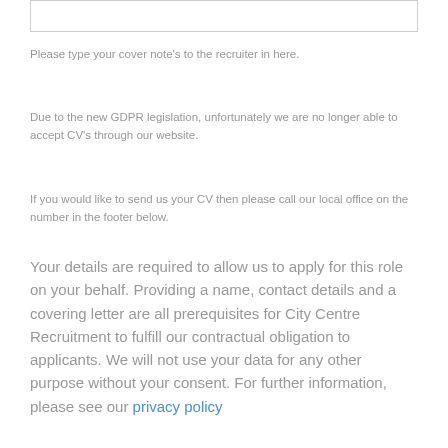Please type your cover note's to the recruiter in here.
Due to the new GDPR legislation, unfortunately we are no longer able to accept CV's through our website.
If you would like to send us your CV then please call our local office on the number in the footer below.
Your details are required to allow us to apply for this role on your behalf. Providing a name, contact details and a covering letter are all prerequisites for City Centre Recruitment to fulfill our contractual obligation to applicants. We will not use your data for any other purpose without your consent. For further information, please see our privacy policy